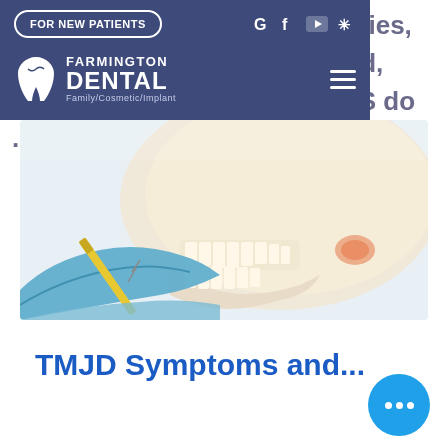...ferences. Vitamin deficiencies, ...nedical conditions that said, about 7 million men in the US do ...ffer from TMJD
[Figure (screenshot): Farmington Dental website navigation bar with blue/purple background, FOR NEW PATIENTS button, social media icons (Google, Facebook, YouTube, Yelp), tooth logo, FARMINGTON DENTAL text, Family/Cosmetic/Implant tagline, and hamburger menu icon]
[Figure (photo): Medical professional in blue gloves using a brush/pen tool on a skull model, demonstrating jaw/TMJ anatomy near a dental office setting]
TMJD Symptoms and...